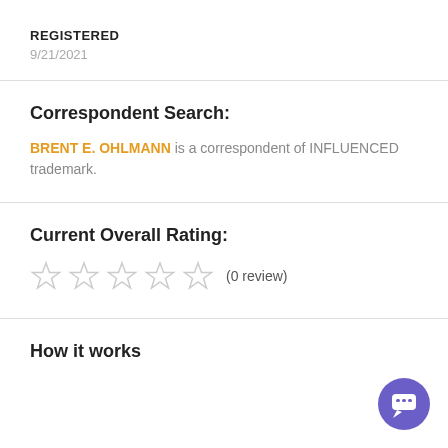REGISTERED
9/21/2021
Correspondent Search:
BRENT E. OHLMANN is a correspondent of INFLUENCED trademark.
Current Overall Rating:
(0 review)
How it works